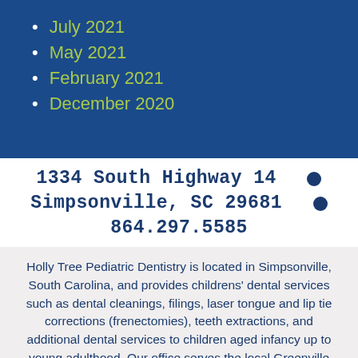July 2021
May 2021
February 2021
December 2020
1334 South Highway 14 • Simpsonville, SC 29681 • 864.297.5585
Holly Tree Pediatric Dentistry is located in Simpsonville, South Carolina, and provides childrens' dental services such as dental cleanings, filings, laser tongue and lip tie corrections (frenectomies), teeth extractions, and additional dental services to children aged infancy up to young adulthood. Our office serves the local Greenville area, covering Simpsonville, Woodruff, Laurens, Fountain Inn, and Clinton areas among others. For children under 2,